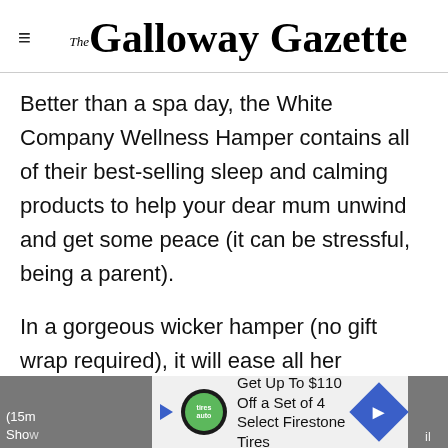The Galloway Gazette
Better than a spa day, the White Company Wellness Hamper contains all of their best-selling sleep and calming products to help your dear mum unwind and get some peace (it can be stressful, being a parent).
In a gorgeous wicker hamper (no gift wrap required), it will ease all her stresses and strains, containing the:
• Sleep Mini Mist (50ml) • Sleep Fragrance Oil (15m...
[Figure (screenshot): Advertisement bar at bottom: Get Up To $110 Off a Set of 4 Select Firestone Tires]